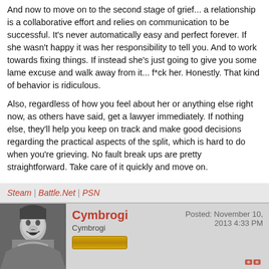And now to move on to the second stage of grief... a relationship is a collaborative effort and relies on communication to be successful. It's never automatically easy and perfect forever. If she wasn't happy it was her responsibility to tell you. And to work towards fixing things. If instead she's just going to give you some lame excuse and walk away from it... f*ck her. Honestly. That kind of behavior is ridiculous.
Also, regardless of how you feel about her or anything else right now, as others have said, get a lawyer immediately. If nothing else, they'll help you keep on track and make good decisions regarding the practical aspects of the split, which is hard to do when you're grieving. No fault break ups are pretty straightforward. Take care of it quickly and move on.
Steam | Battle.Net | PSN
Cymbrogi
Cymbrogi
Posted: November 10, 2013 4:33 PM
TheCounselor wrote:
Real estate taxes are usually pre-paid, so if they aren't paid yet then they aren't for a time period you have lived in the house.
You need to check this; in every state I've worked with (Iowa, South Dakota,